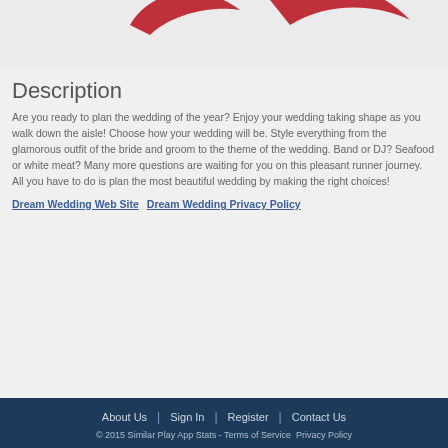[Figure (illustration): Partial view of a red swoosh/ribbon decorative logo element on light gray background]
Description
Are you ready to plan the wedding of the year? Enjoy your wedding taking shape as you walk down the aisle! Choose how your wedding will be. Style everything from the glamorous outfit of the bride and groom to the theme of the wedding. Band or DJ? Seafood or white meat? Many more questions are waiting for you on this pleasant runner journey. All you have to do is plan the most beautiful wedding by making the right choices!
Dream Wedding Web Site   Dream Wedding Privacy Policy
About Us | Sign In | Register | Contact Us
© 2015 Similar Play App Stats - Terms of Service Privacy Policy